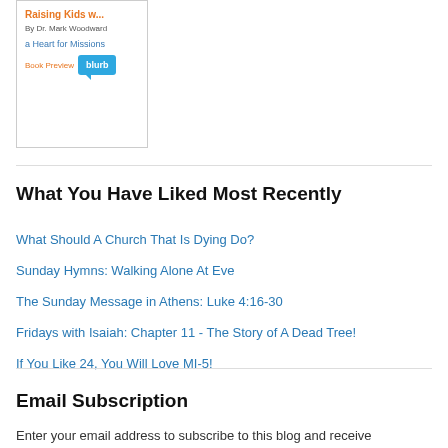[Figure (other): Book preview widget showing 'Raising Kids w...' by Dr. Mark Woodward, 'a Heart for Missions', with Book Preview text and a Blurb badge]
What You Have Liked Most Recently
What Should A Church That Is Dying Do?
Sunday Hymns: Walking Alone At Eve
The Sunday Message in Athens: Luke 4:16-30
Fridays with Isaiah: Chapter 11 - The Story of A Dead Tree!
If You Like 24, You Will Love MI-5!
Email Subscription
Enter your email address to subscribe to this blog and receive